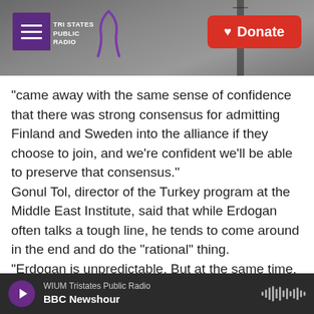[Figure (screenshot): Tri States Public Radio website header with hamburger menu, logo, and red Donate button over a dark grayscale photo of a radio tower]
"came away with the same sense of confidence that there was strong consensus for admitting Finland and Sweden into the alliance if they choose to join, and we're confident we'll be able to preserve that consensus."
Gonul Tol, director of the Turkey program at the Middle East Institute, said that while Erdogan often talks a tough line, he tends to come around in the end and do the "rational" thing.
"Erdogan is unpredictable. But at the same time, he's a very pragmatic actor," she said. Tol said
WIUM Tristates Public Radio
BBC Newshour